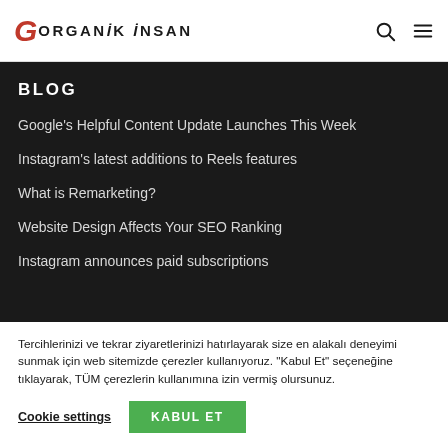ORGANİK İNSAN
BLOG
Google's Helpful Content Update Launches This Week
Instagram's latest additions to Reels features
What is Remarketing?
Website Design Affects Your SEO Ranking
Instagram announces paid subscriptions
Tercihlerinizi ve tekrar ziyaretlerinizi hatırlayarak size en alakalı deneyimi sunmak için web sitemizde çerezler kullanıyoruz. "Kabul Et" seçeneğine tıklayarak, TÜM çerezlerin kullanımına izin vermiş olursunuz.
Cookie settings  KABUL ET